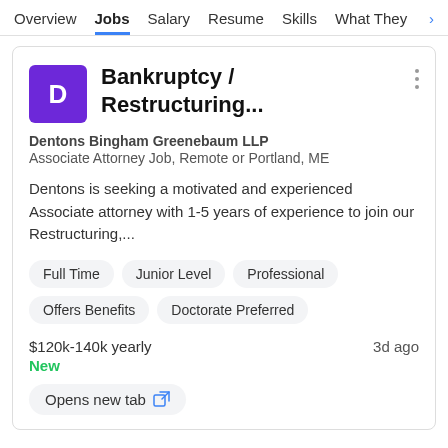Overview  Jobs  Salary  Resume  Skills  What They >
Bankruptcy / Restructuring...
Dentons Bingham Greenebaum LLP
Associate Attorney Job, Remote or Portland, ME
Dentons is seeking a motivated and experienced Associate attorney with 1-5 years of experience to join our Restructuring,...
Full Time
Junior Level
Professional
Offers Benefits
Doctorate Preferred
$120k-140k yearly   3d ago
New
Opens new tab